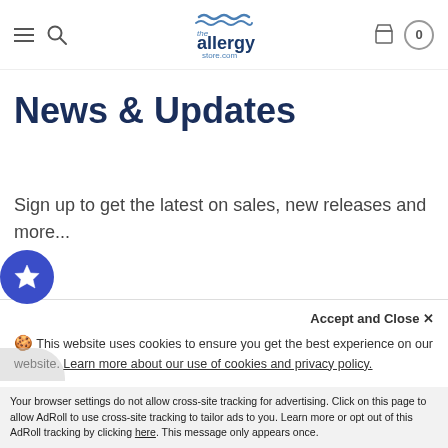the allergy store.com
News & Updates
Sign up to get the latest on sales, new releases and more...
Enter your email address...
🍪 This website uses cookies to ensure you get the best experience on our website. Learn more about our use of cookies and privacy policy.
Accept and Close ✕
Your browser settings do not allow cross-site tracking for advertising. Click on this page to allow AdRoll to use cross-site tracking to tailor ads to you. Learn more or opt out of this AdRoll tracking by clicking here. This message only appears once.